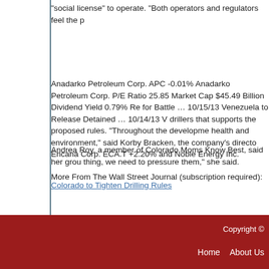“social license” to operate. “Both operators and regulators feel the p
Anadarko Petroleum Corp. APC -0.01% Anadarko Petroleum Corp. P/E Ratio 25.85 Market Cap $45.49 Billion Dividend Yield 0.79% Re for Battle … 10/15/13 Venezuela to Release Detained … 10/14/13 V drillers that supports the proposed rules. “Throughout the developme health and environment,” said Korby Bracken, the company’s directo Encana Corp. ECA.T +2.20% and Noble Energy Inc.
Andrea Roy, a member of Colorado Moms Know Best, said her grou thing, we need to pressure them,” she said.
More From The Wall Street Journal (subscription required):
Colorado to Tighten Drilling Rules
Copyright C  Home  About Us